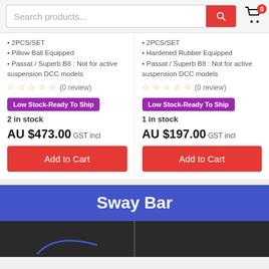Search products...
2PCS/SET
Pillow Ball Equipped
Passat / Superb B8 : Not for active suspension DCC models
2PCS/SET
Hardened Rubber Equipped
Passat / Superb B8 : Not for active suspension DCC models
(0 review)
(0 review)
Low Stock-Ready To Ship
Low Stock-Ready To Ship
2 in stock
1 in stock
AU $473.00 GST incl
AU $197.00 GST incl
Add to Cart
Add to Cart
Sway Bar
[Figure (photo): Two dark product images at the bottom of the page, partially visible]